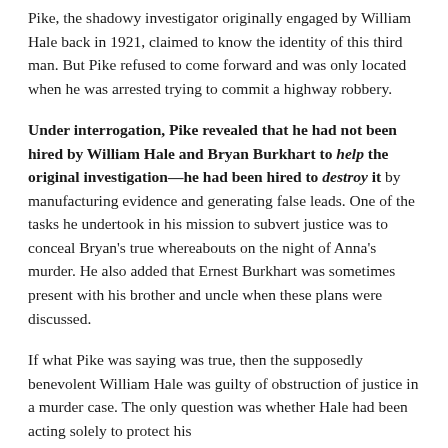Pike, the shadowy investigator originally engaged by William Hale back in 1921, claimed to know the identity of this third man. But Pike refused to come forward and was only located when he was arrested trying to commit a highway robbery.
Under interrogation, Pike revealed that he had not been hired by William Hale and Bryan Burkhart to help the original investigation—he had been hired to destroy it by manufacturing evidence and generating false leads. One of the tasks he undertook in his mission to subvert justice was to conceal Bryan's true whereabouts on the night of Anna's murder. He also added that Ernest Burkhart was sometimes present with his brother and uncle when these plans were discussed.
If what Pike was saying was true, then the supposedly benevolent William Hale was guilty of obstruction of justice in a murder case. The only question was whether Hale had been acting solely to protect his nephew Bryan from the law, or whether he had also...